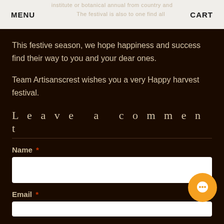MENU   CART
This festive season, we hope happiness and success find their way to you and your dear ones.
Team Artisanscrest wishes you a very Happy harvest festival.
Leave a comment
Name *
Email *